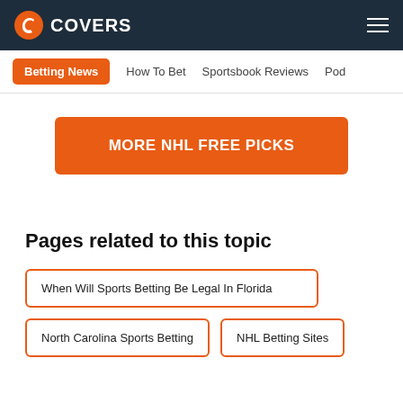COVERS
Betting News | How To Bet | Sportsbook Reviews | Pod
MORE NHL FREE PICKS
Pages related to this topic
When Will Sports Betting Be Legal In Florida
North Carolina Sports Betting
NHL Betting Sites